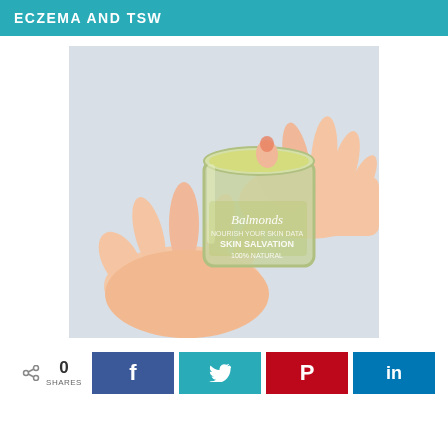ECZEMA AND TSW
[Figure (photo): Two hands holding an open glass jar of Balmonds Skin Salvation 100% Natural balm with yellow-green content, one finger dipping into the product. Light grey background.]
0
SHARES